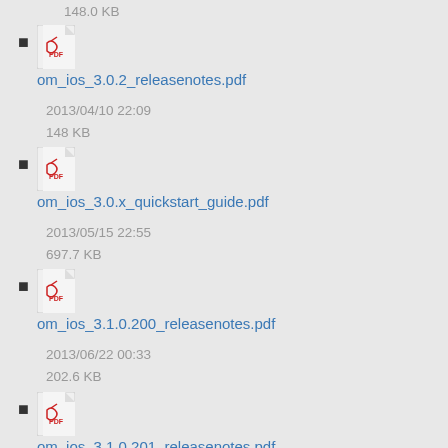148.0 KB
om_ios_3.0.2_releasenotes.pdf
2013/04/10 22:09
148 KB
om_ios_3.0.x_quickstart_guide.pdf
2013/05/15 22:55
697.7 KB
om_ios_3.1.0.200_releasenotes.pdf
2013/06/22 00:33
202.6 KB
om_ios_3.1.0.201_releasenotes.pdf